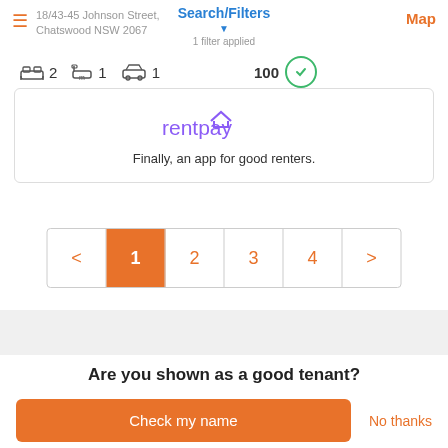Search/Filters
18/43-45 Johnson Street, Chatswood NSW 2067
1 filter applied
Map
2  1  1  100
[Figure (screenshot): rentpay logo and ad banner with tagline: Finally, an app for good renters.]
Finally, an app for good renters.
< 1 2 3 4 >
Are you shown as a good tenant?
Check my name
No thanks